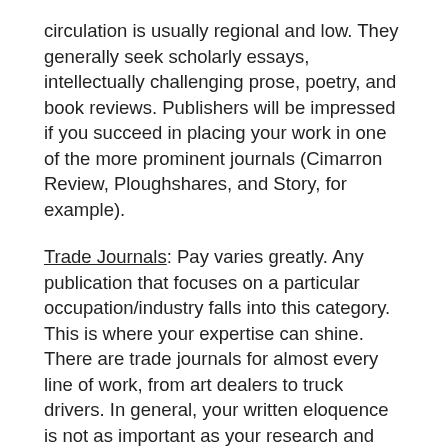circulation is usually regional and low. They generally seek scholarly essays, intellectually challenging prose, poetry, and book reviews. Publishers will be impressed if you succeed in placing your work in one of the more prominent journals (Cimarron Review, Ploughshares, and Story, for example).
Trade Journals: Pay varies greatly. Any publication that focuses on a particular occupation/industry falls into this category. This is where your expertise can shine. There are trade journals for almost every line of work, from art dealers to truck drivers. In general, your written eloquence is not as important as your research and timely knowledge for these publications.
E-Zines: Pay varies greatly. Simply put, e-zines are simply magazines on the Internet. The only major difference is that articles for e-zines can usually run longer than print magazines. (No printing costs, so “space” isn’t